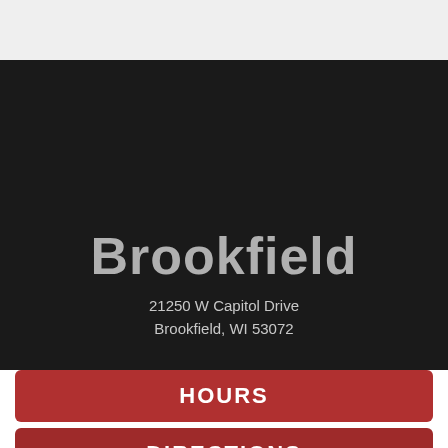Brookfield
21250 W Capitol Drive
Brookfield, WI 53072
HOURS
DIRECTIONS